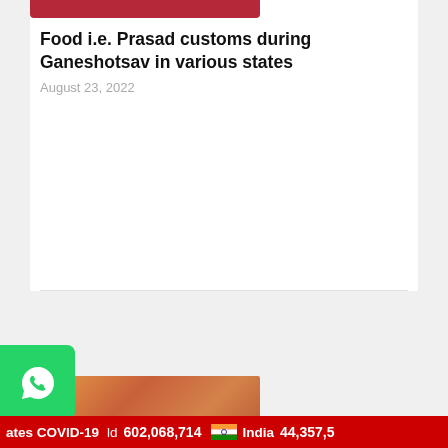[Figure (photo): Partial red/pink colored image at top of article card, cropped]
Food i.e. Prasad customs during Ganeshotsav in various states
August 23, 2022
[Figure (photo): Colorful religious/festival themed image at bottom of page, partially visible]
[Figure (logo): WhatsApp green circular button with phone icon]
ates COVID-19  ld  602,068,714  India  44,357,5